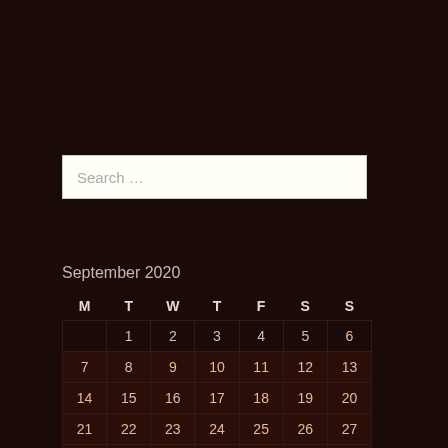Search …
| M | T | W | T | F | S | S |
| --- | --- | --- | --- | --- | --- | --- |
|  | 1 | 2 | 3 | 4 | 5 | 6 |
| 7 | 8 | 9 | 10 | 11 | 12 | 13 |
| 14 | 15 | 16 | 17 | 18 | 19 | 20 |
| 21 | 22 | 23 | 24 | 25 | 26 | 27 |
| 28 | 29 | 30 |  |  |  |  |